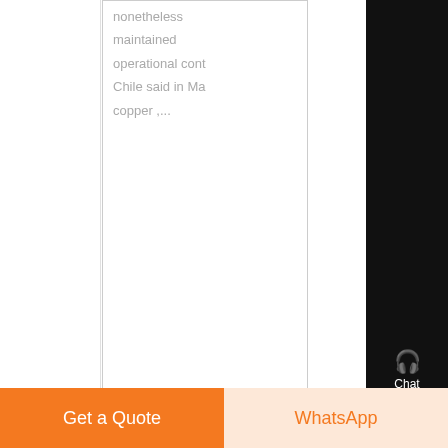nonetheless maintained operational cont... Chile said in Ma... copper ,...
Know More
[Figure (photo): Mining equipment on rocky terrain, outdoor mining site]
The 10 Biggest Mining Stocks
Chat
E-mail
Top
Get a Quote
WhatsApp